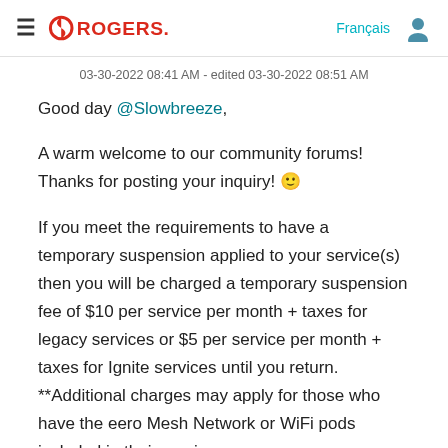ROGERS. Français
03-30-2022 08:41 AM - edited 03-30-2022 08:51 AM
Good day @Slowbreeze,
A warm welcome to our community forums! Thanks for posting your inquiry! 🙂
If you meet the requirements to have a temporary suspension applied to your service(s) then you will be charged a temporary suspension fee of $10 per service per month + taxes for legacy services or $5 per service per month + taxes for Ignite services until you return. **Additional charges may apply for those who have the eero Mesh Network or WiFi pods included in their service.